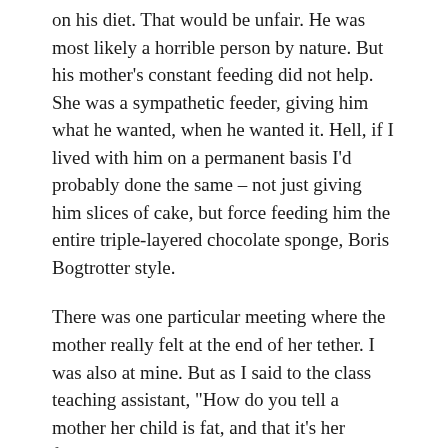on his diet. That would be unfair. He was most likely a horrible person by nature. But his mother's constant feeding did not help. She was a sympathetic feeder, giving him what he wanted, when he wanted it. Hell, if I lived with him on a permanent basis I'd probably done the same – not just giving him slices of cake, but force feeding him the entire triple-layered chocolate sponge, Boris Bogtrotter style.
There was one particular meeting where the mother really felt at the end of her tether. I was also at mine. But as I said to the class teaching assistant, "How do you tell a mother her child is fat, and that it's her fault?"
The answer to that question is probably to be more direct. Instead, in my ever diplomatic style, I beat around the bush. I raised with her our concern that her son had been turning up to school with energy